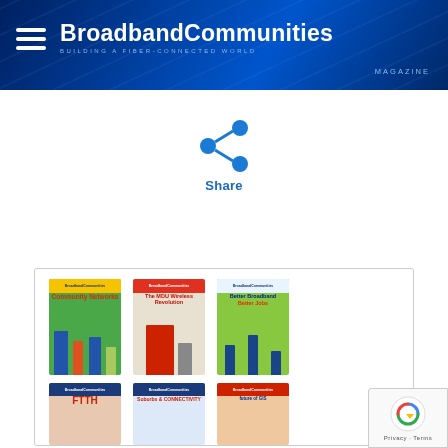BroadbandCommunities BUILDING A FIBER-CONNECTED WORLD MAGAZINE
[Figure (infographic): Share icon - blue share/network symbol with three circles connected by lines]
Share
[Figure (infographic): Grid of BroadbandCommunities magazine covers showing Community Networks, MDU/Wireless, Better Broadband Better Jobs issues in top row, and FTTH, Broadband Innovation, and another issue partially visible in bottom row]